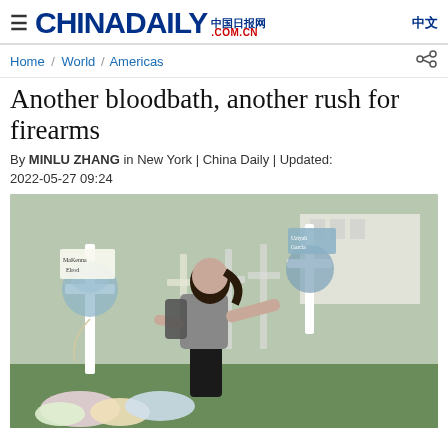CHINADAILY 中国日报网 .COM.CN 中文
Home / World / Americas
Another bloodbath, another rush for firearms
By MINLU ZHANG in New York | China Daily | Updated: 2022-05-27 09:24
[Figure (photo): A young girl placing flowers at a memorial with white crosses, some bearing names like 'MaKenna Elrod' and 'Uziyah Garcia', with ribbons attached, in an outdoor setting with other memorials visible in the background.]